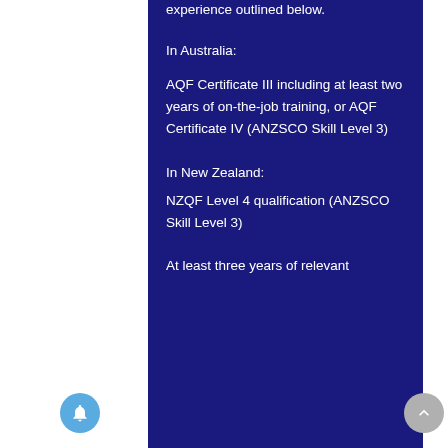experience outlined below.
In Australia:
AQF Certificate III including at least two years of on-the-job training, or AQF Certificate IV (ANZSCO Skill Level 3)
In New Zealand:
NZQF Level 4 qualification (ANZSCO Skill Level 3)
At least three years of relevant